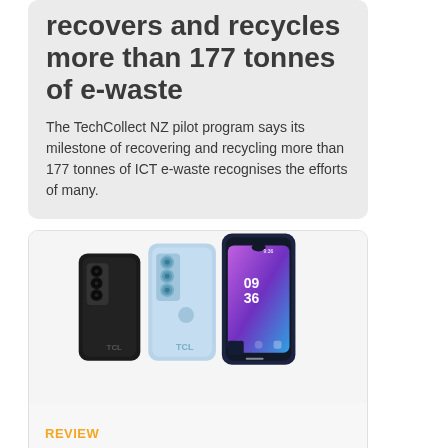recovers and recycles more than 177 tonnes of e-waste
The TechCollect NZ pilot program says its milestone of recovering and recycling more than 177 tonnes of ICT e-waste recognises the efforts of many.
[Figure (photo): Three TCL smartphones shown back and front — black, light blue, and dark navy with a purple gradient screen showing 09:36]
REVIEW
Hands-on review: